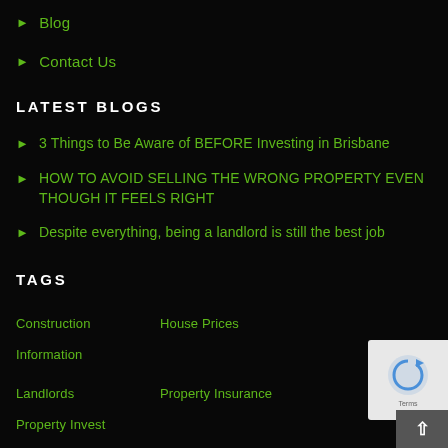Blog
Contact Us
LATEST BLOGS
3 Things to Be Aware of BEFORE Investing in Brisbane
HOW TO AVOID SELLING THE WRONG PROPERTY EVEN THOUGH IT FEELS RIGHT
Despite everything, being a landlord is still the best job
TAGS
Construction
House Prices
Information
Landlords
Property Insurance
Property Invest…
Tax Depreciation
Uncategorized